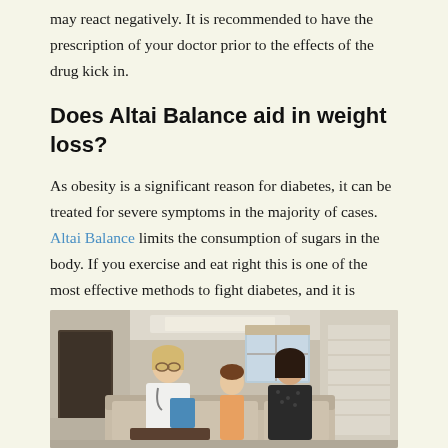may react negatively. It is recommended to have the prescription of your doctor prior to the effects of the drug kick in.
Does Altai Balance aid in weight loss?
As obesity is a significant reason for diabetes, it can be treated for severe symptoms in the majority of cases. Altai Balance limits the consumption of sugars in the body. If you exercise and eat right this is one of the most effective methods to fight diabetes, and it is perfect for Altai Balance.
[Figure (photo): A doctor in a white coat with a stethoscope sits on a sofa talking with a woman and a young child in a home or clinic setting with modern interior decor.]